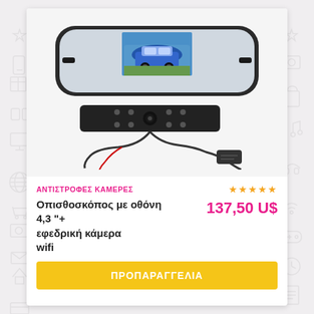[Figure (photo): Product photo of a car rearview mirror with 4.3 inch monitor screen showing a blue car, and a backup WiFi camera with wiring and license plate bracket mount]
ΑΝΤΙΣΤΡΟΦΕΣ ΚΑΜΕΡΕΣ
★★★★★
Οπισθοσκόπος με οθόνη 4,3 "+ εφεδρική κάμερα wifi
137,50 U$
ΠΡΟΠΑΡΑΓΓΕΛΙΑ